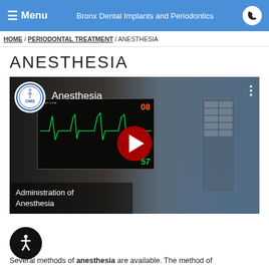☰ Menu   Bronx Dental Implants and Periodontics   📞
HOME / PERIODONTAL TREATMENT / ANESTHESIA
ANESTHESIA
[Figure (screenshot): YouTube video thumbnail showing 'Anesthesia' with AAOMS logo, medical monitor equipment and surgeon in background. Play button visible. Subtitle: Administration of Anesthesia]
Several methods of anesthesia are available. The method of